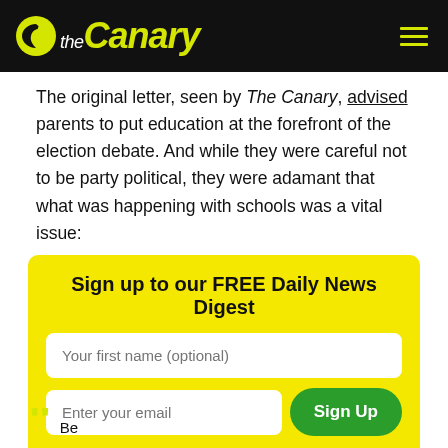theCanary
The original letter, seen by The Canary, advised parents to put education at the forefront of the election debate. And while they were careful not to be party political, they were adamant that what was happening with schools was a vital issue:
Sign up to our FREE Daily News Digest
Your first name (optional)
Enter your email
Sign Up
We will not share your information with third parties. Please see our Privacy Policy for information.